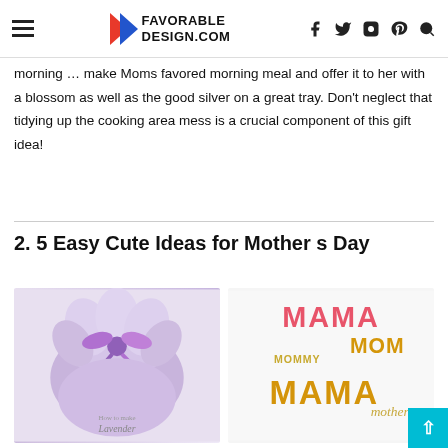FAVORABLE DESIGN.COM — navigation header with hamburger menu, logo, and social icons
morning … make Moms favored morning meal and offer it to her with a blossom as well as the good silver on a great tray. Don't neglect that tidying up the cooking area mess is a crucial component of this gift idea!
2. 5 Easy Cute Ideas for Mother s Day
[Figure (photo): Lavender sachet gift wrapped in purple fabric with a ribbon, with text 'How to make Lavender' at the bottom]
[Figure (photo): Mother's Day themed paper cut-out letters spelling MAMA, MOM, MAMA, and 'mother' in pink and gold colors]